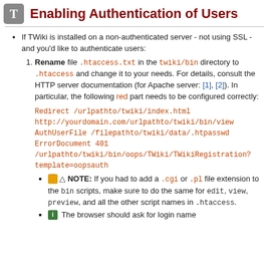T
Enabling Authentication of Users
If TWiki is installed on a non-authenticated server - not using SSL - and you'd like to authenticate users:
Rename file .htaccess.txt in the twiki/bin directory to .htaccess and change it to your needs. For details, consult the HTTP server documentation (for Apache server: [1], [2]). In particular, the following red part needs to be configured correctly:
Redirect /urlpathto/twiki/index.html
http://yourdomain.com/urlpathto/twiki/bin/view
AuthUserFile /filepathto/twiki/data/.htpasswd
ErrorDocument 401
/urlpathto/twiki/bin/oops/TWiki/TWikiRegistration?template=oopsauth
NOTE: If you had to add a .cgi or .pl file extension to the bin scripts, make sure to do the same for edit, view, preview, and all the other script names in .htaccess.
The browser should ask for login name